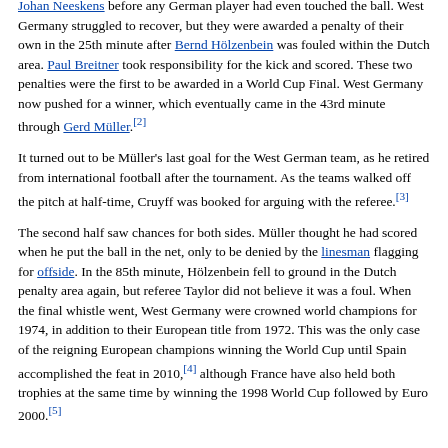Johan Neeskens before any German player had even touched the ball. West Germany struggled to recover, but they were awarded a penalty of their own in the 25th minute after Bernd Hölzenbein was fouled within the Dutch area. Paul Breitner took responsibility for the kick and scored. These two penalties were the first to be awarded in a World Cup Final. West Germany now pushed for a winner, which eventually came in the 43rd minute through Gerd Müller.[2]
It turned out to be Müller's last goal for the West German team, as he retired from international football after the tournament. As the teams walked off the pitch at half-time, Cruyff was booked for arguing with the referee.[3]
The second half saw chances for both sides. Müller thought he had scored when he put the ball in the net, only to be denied by the linesman flagging for offside. In the 85th minute, Hölzenbein fell to ground in the Dutch penalty area again, but referee Taylor did not believe it was a foul. When the final whistle went, West Germany were crowned world champions for 1974, in addition to their European title from 1972. This was the only case of the reigning European champions winning the World Cup until Spain accomplished the feat in 2010,[4] although France have also held both trophies at the same time by winning the 1998 World Cup followed by Euro 2000.[5]